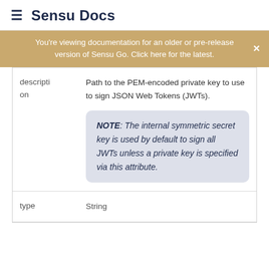≡ Sensu Docs
You're viewing documentation for an older or pre-release version of Sensu Go. Click here for the latest.
| description | Path to the PEM-encoded private key to use to sign JSON Web Tokens (JWTs).

NOTE: The internal symmetric secret key is used by default to sign all JWTs unless a private key is specified via this attribute. |
| type | String |